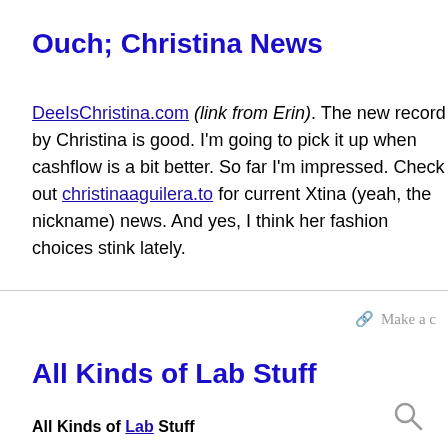Ouch; Christina News
DeeIsChristina.com (link from Erin). The new record by Christina is good. I'm going to pick it up when cashflow is a bit better. So far I'm impressed. Check out christinaaguilera.to for current Xtina (yeah, the nickname) news. And yes, I think her fashion choices stink lately.
Make a c
All Kinds of Lab Stuff
All Kinds of Lab Stuff